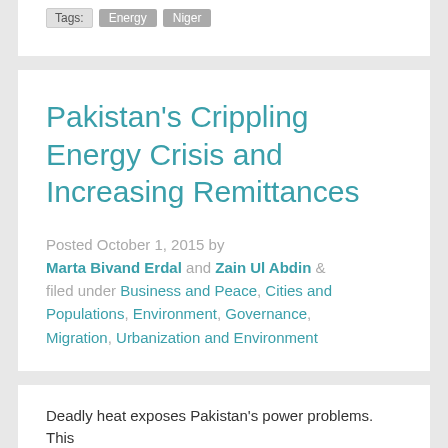Tags: Energy Niger
Pakistan's Crippling Energy Crisis and Increasing Remittances
Posted October 1, 2015 by Marta Bivand Erdal and Zain Ul Abdin & filed under Business and Peace, Cities and Populations, Environment, Governance, Migration, Urbanization and Environment
Deadly heat exposes Pakistan's power problems. This